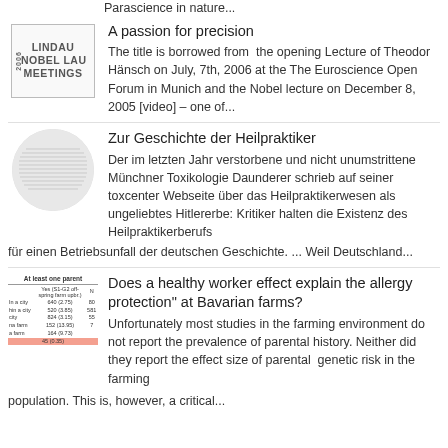Parascience in nature...
A passion for precision
The title is borrowed from the opening Lecture of Theodor Hänsch on July, 7th, 2006 at the The Euroscience Open Forum in Munich and the Nobel lecture on December 8, 2005 [video] – one of...
Zur Geschichte der Heilpraktiker
Der im letzten Jahr verstorbene und nicht unumstrittene Münchner Toxikologie Daunderer schrieb auf seiner toxcenter Webseite über das Heilpraktikerwesen als ungeliebtes Hitlererbe: Kritiker halten die Existenz des Heilpraktikerberufs für einen Betriebsunfall der deutschen Geschichte. ... Weil Deutschland...
Does a healthy worker effect explain the allergy protection" at Bavarian farms?
Unfortunately most studies in the farming environment do not report the prevalence of parental history. Neither did they report the effect size of parental genetic risk in the farming population. This is, however, a critical...